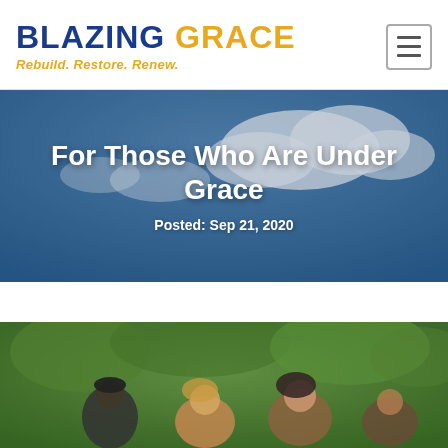BLAZING GRACE — Rebuild. Restore. Renew.
For Those Who Are Under Grace
Posted: Sep 21, 2020
[Figure (photo): Group of people outdoors with green bushes/trees in background]
[Figure (photo): Sky with clouds — hero banner background]